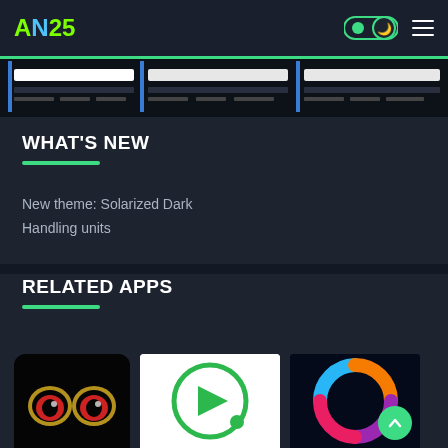AN25 (logo) with dark mode toggle and hamburger menu
[Figure (screenshot): Banner strip showing scrollable track/slider elements with blue and white bars on dark background]
WHAT'S NEW
New theme: Solarized Dark
Handling units
RELATED APPS
[Figure (illustration): Three app icon thumbnails: first shows cartoon dog eyes on black background, second shows green circular play button on white background, third shows colorful swirling arcs on dark background with green FAB button]